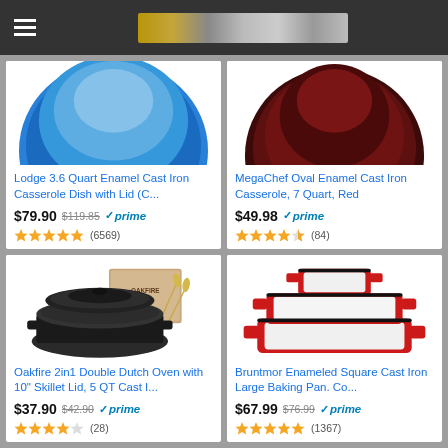Navigation header with hamburger menu and banner
[Figure (photo): Blue enamel cast iron casserole dish, top portion visible]
Lodge 3.6 Quart Enamel Cast Iron Casserole Dish with Lid (C...
$79.90 $119.85 prime (6569)
[Figure (photo): Dark red/maroon enamel cast iron casserole, top portion visible]
MegaChef Oval Enamel Cast Iron Casserole, 7 Quart, Red
$49.98 prime (84)
[Figure (photo): Black cast iron double dutch oven with Oakfire branding box and wheat decoration]
Oakfire 2in1 Double Dutch Oven with 10" Skillet Lid, 5 QT Cast I...
$37.90 $42.90 prime (28)
[Figure (photo): Red enameled square cast iron baking pans set, two pieces shown]
Bruntmor Enameled Square Cast Iron Large Baking Pan. Co...
$67.99 $76.99 prime (1367)